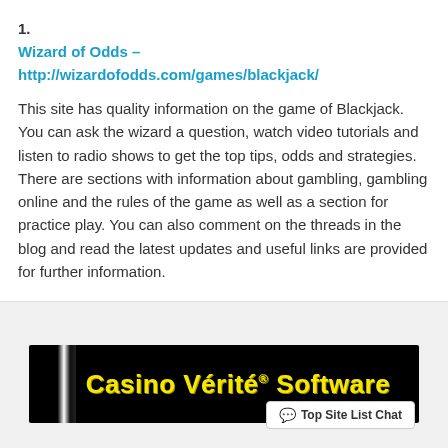1. Wizard of Odds – http://wizardofodds.com/games/blackjack/
This site has quality information on the game of Blackjack. You can ask the wizard a question, watch video tutorials and listen to radio shows to get the top tips, odds and strategies. There are sections with information about gambling, gambling online and the rules of the game as well as a section for practice play. You can also comment on the threads in the blog and read the latest updates and useful links are provided for further information.
[Figure (illustration): Casino Vérité® Software banner advertisement on dark background with yellow bold text]